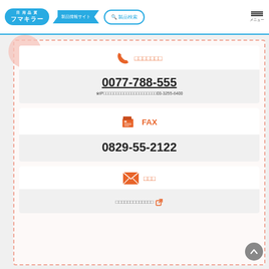日用品質 フマキラー 製品情報サイト 製品検索 メニュー
□□□□□□□ (telephone icon)
0077-788-555
※IP□□□□□□□□□□□□□□□□□□□□□03-3255-6400
FAX
0829-55-2122
□□□ (mail icon)
□□□□□□□□□□□□□